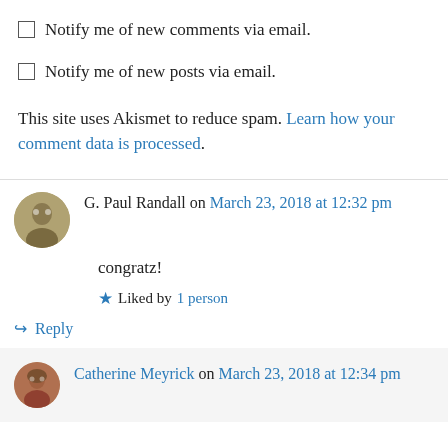Notify me of new comments via email.
Notify me of new posts via email.
This site uses Akismet to reduce spam. Learn how your comment data is processed.
G. Paul Randall on March 23, 2018 at 12:32 pm
congratz!
Liked by 1 person
Reply
Catherine Meyrick on March 23, 2018 at 12:34 pm